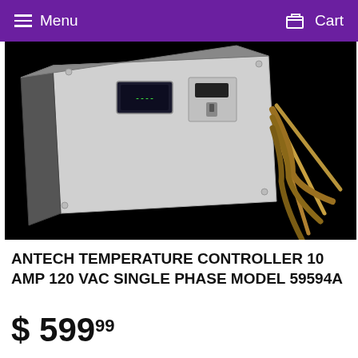Menu  Cart
[Figure (photo): Product photo of an Antech Temperature Controller on a black background, showing a white metal control panel with a digital display and switches, with metal probe rods/cables extending out to the right.]
ANTECH TEMPERATURE CONTROLLER 10 AMP 120 VAC SINGLE PHASE MODEL 59594A
$ 59999